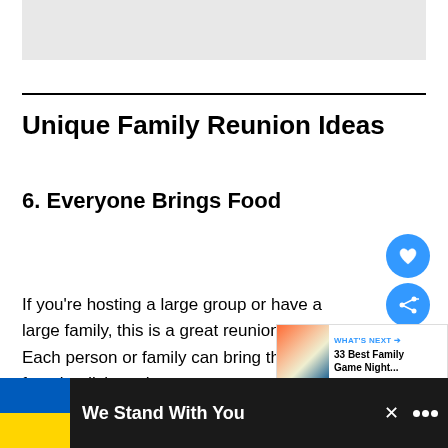[Figure (other): Gray placeholder image area at top of page]
Unique Family Reunion Ideas
6. Everyone Brings Food
If you're hosting a large group or have a large family, this is a great reunion idea. Each person or family can bring their favorite dish so that everyone can have a
[Figure (other): What's Next promo card: 33 Best Family Game Night...]
[Figure (other): Bottom advertisement banner: We Stand With You, with Ukrainian flag colors]